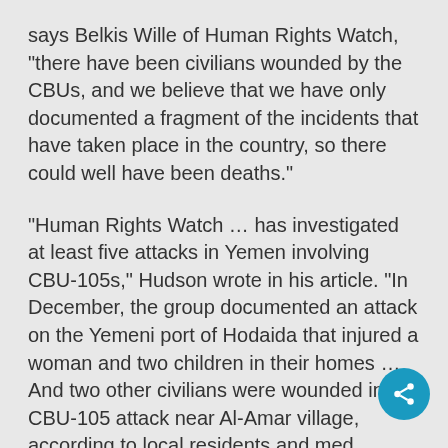says Belkis Wille of Human Rights Watch, "there have been civilians wounded by the CBUs, and we believe that we have only documented a fragment of the incidents that have taken place in the country, so there could well have been deaths."
"Human Rights Watch … has investigated at least five attacks in Yemen involving CBU-105s," Hudson wrote in his article. "In December, the group documented an attack on the Yemeni port of Hodaida that injured a woman and two children in their homes … And two other civilians were wounded in a CBU-105 attack near Al-Amar village, according to local residents and medical staff interviewed by Human Rights Watch."